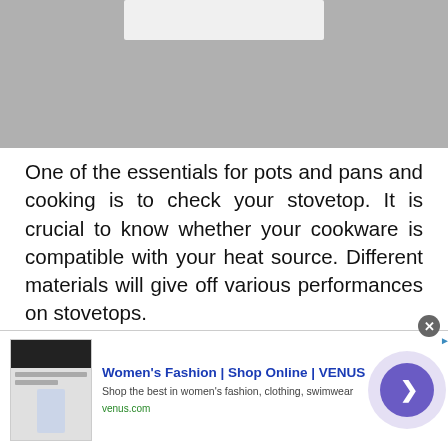[Figure (photo): Top portion of a product photo showing a white rectangular cookware/pot against a gray background]
One of the essentials for pots and pans and cooking is to check your stovetop. It is crucial to know whether your cookware is compatible with your heat source. Different materials will give off various performances on stovetops.
[Figure (screenshot): Advertisement banner: Women's Fashion | Shop Online | VENUS. Shop the best in women's fashion, clothing, swimwear. venus.com]